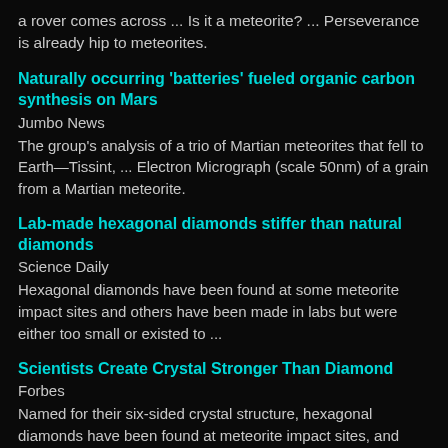a rover comes across ... Is it a meteorite? ... Perseverance is already hip to meteorites.
Naturally occurring 'batteries' fueled organic carbon synthesis on Mars
Jumbo News
The group's analysis of a trio of Martian meteorites that fell to Earth—Tissint, ... Electron Micrograph (scale 50nm) of a grain from a Martian meteorite.
Lab-made hexagonal diamonds stiffer than natural diamonds
Science Daily
Hexagonal diamonds have been found at some meteorite impact sites and others have been made in labs but were either too small or existed to ...
Scientists Create Crystal Stronger Than Diamond
Forbes
Named for their six-sided crystal structure, hexagonal diamonds have been found at meteorite impact sites, and others have been made briefly in labs, ...